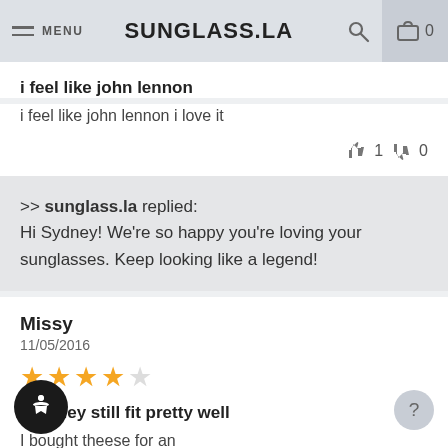MENU | SUNGLASS.LA | 0
i feel like john lennon
i feel like john lennon i love it
👍 1  👎 0
>> sunglass.la replied: Hi Sydney! We&#x27;re so happy you&#x27;re loving your sunglasses. Keep looking like a legend!
Missy
11/05/2016
★★★★☆
but they still fit pretty well
I bought theese for an